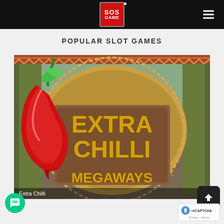SOS GAME - navigation header with hamburger menu
POPULAR SLOT GAMES
[Figure (screenshot): Extra Chilli Megaways slot game promotional image showing a large red chilli pepper and golden text reading 'EXTRA CHILLI' and 'MEGAWAYS™' on a decorative background]
Extra Chilli